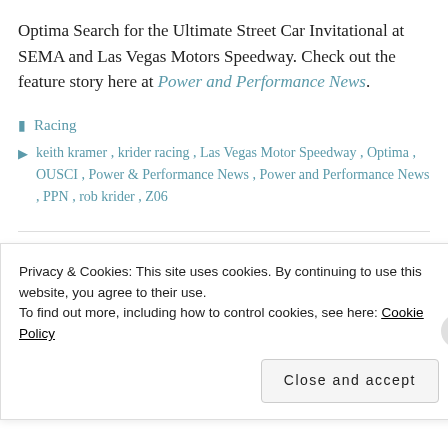Optima Search for the Ultimate Street Car Invitational at SEMA and Las Vegas Motors Speedway. Check out the feature story here at Power and Performance News.
Racing
keith kramer, krider racing, Las Vegas Motor Speedway, Optima, OUSCI, Power & Performance News, Power and Performance News, PPN, rob krider, Z06
DNN Motorsports night
Privacy & Cookies: This site uses cookies. By continuing to use this website, you agree to their use.
To find out more, including how to control cookies, see here: Cookie Policy